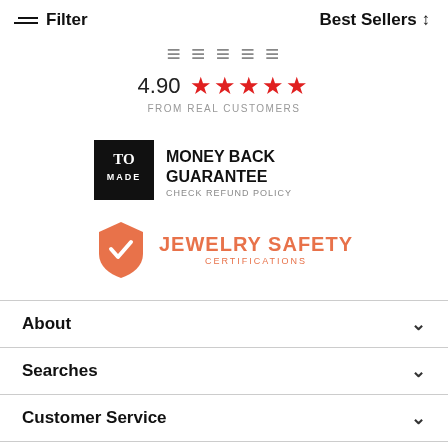Filter | Best Sellers
4.90 ★★★★★
FROM REAL CUSTOMERS
[Figure (logo): TO MADE black box logo with MONEY BACK GUARANTEE and CHECK REFUND POLICY text]
[Figure (logo): Jewelry Safety Certifications badge with orange shield and checkmark]
About
Searches
Customer Service
Connect